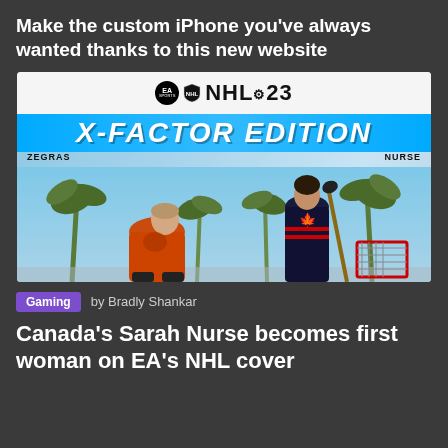Make the custom iPhone you’ve always wanted thanks to this new website
[Figure (photo): NHL 23 X-Factor Edition game cover featuring Trevor Zegras in orange Anaheim Ducks jersey and Sarah Nurse in black Canada hockey jersey, with palm trees in background, blue sky. EA Sports NHL 23 logo at top, X-FACTOR EDITION text banner in blue.]
Gaming   by Bradly Shankar
Canada’s Sarah Nurse becomes first woman on EA’s NHL cover